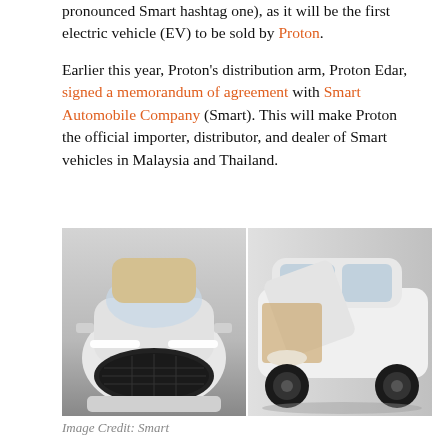pronounced Smart hashtag one), as it will be the first electric vehicle (EV) to be sold by Proton.
Earlier this year, Proton's distribution arm, Proton Edar, signed a memorandum of agreement with Smart Automobile Company (Smart). This will make Proton the official importer, distributor, and dealer of Smart vehicles in Malaysia and Thailand.
[Figure (photo): Two photos of a Smart electric vehicle concept side by side: left photo shows the front view of a white EV SUV, right photo shows a side view with an open door revealing the interior.]
Image Credit: Smart